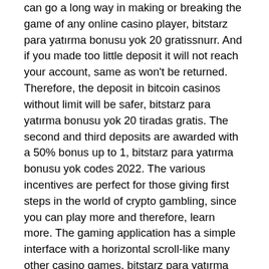can go a long way in making or breaking the game of any online casino player, bitstarz para yatırma bonusu yok 20 gratissnurr. And if you made too little deposit it will not reach your account, same as won't be returned. Therefore, the deposit in bitcoin casinos without limit will be safer, bitstarz para yatırma bonusu yok 20 tiradas gratis. The second and third deposits are awarded with a 50% bonus up to 1, bitstarz para yatırma bonusu yok codes 2022. The various incentives are perfect for those giving first steps in the world of crypto gambling, since you can play more and therefore, learn more. The gaming application has a simple interface with a horizontal scroll-like many other casino games, bitstarz para yatırma bonusu yok 20 darmowe spiny. You have to put in the bet without reading any notices, you don't need to pay attention to the news on your